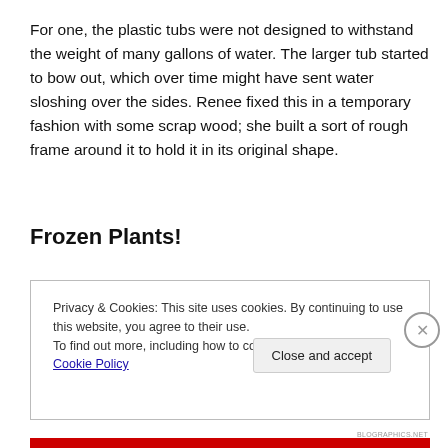For one, the plastic tubs were not designed to withstand the weight of many gallons of water. The larger tub started to bow out, which over time might have sent water sloshing over the sides. Renee fixed this in a temporary fashion with some scrap wood; she built a sort of rough frame around it to hold it in its original shape.
Frozen Plants!
Privacy & Cookies: This site uses cookies. By continuing to use this website, you agree to their use.
To find out more, including how to control cookies, see here: Cookie Policy